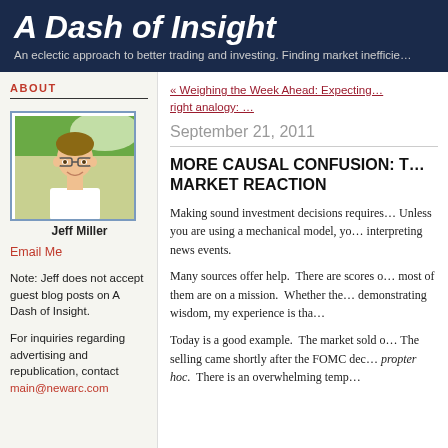A Dash of Insight
An eclectic approach to better trading and investing. Finding market inefficie…
ABOUT
[Figure (photo): Photo of Jeff Miller, a man with glasses smiling, wearing a white shirt, with trees in background]
Jeff Miller
Email Me
Note: Jeff does not accept guest blog posts on A Dash of Insight.
For inquiries regarding advertising and republication, contact main@newarc.com
« Weighing the Week Ahead: Expecting…
right analogy: …
September 21, 2011
MORE CAUSAL CONFUSION: T… MARKET REACTION
Making sound investment decisions requires… Unless you are using a mechanical model, yo… interpreting news events.
Many sources offer help. There are scores o… most of them are on a mission. Whether the… demonstrating wisdom, my experience is tha…
Today is a good example. The market sold o… The selling came shortly after the FOMC dec… propter hoc. There is an overwhelming temp…